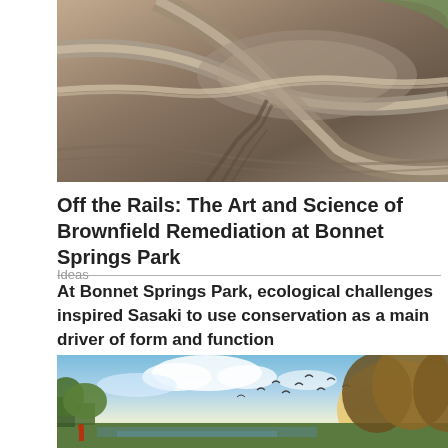[Figure (photo): Aerial view of a brownfield site with earthworks, showing curved dirt roads and disturbed soil patterns in brown and grey tones]
Off the Rails: The Art and Science of Brownfield Remediation at Bonnet Springs Park
Ideas
At Bonnet Springs Park, ecological challenges inspired Sasaki to use conservation as a main driver of form and function
[Figure (illustration): Rendered illustration of Bonnet Springs Park showing green trees, open sky with birds flying, and a naturalistic park landscape with warm golden sunlight]